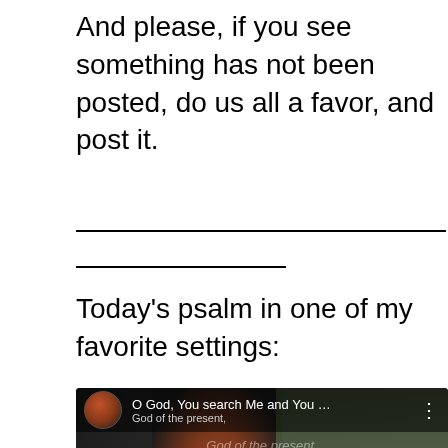And please, if you see something has not been posted, do us all a favor, and post it.
Today's psalm in one of my favorite settings:
[Figure (screenshot): YouTube video embed showing 'O God, You search Me and You ...' with a church thumbnail image, red play button, 798 badge, and teal chat bubble icon]